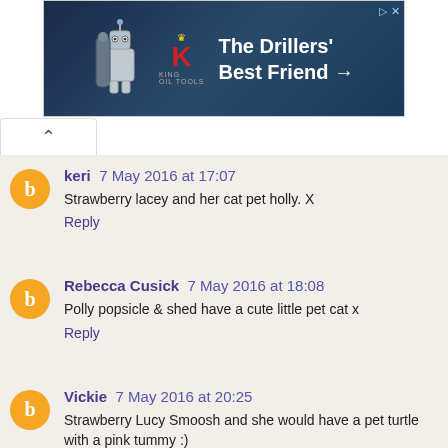[Figure (other): Advertisement banner for King Oil Tools: 'The Drillers' Best Friend →' with a robot/drilling tool mascot and the King logo with red K and crown.]
keri 7 May 2016 at 17:07
Strawberry lacey and her cat pet holly. X
Reply
Rebecca Cusick 7 May 2016 at 18:08
Polly popsicle & shed have a cute little pet cat x
Reply
Vickie 7 May 2016 at 20:25
Strawberry Lucy Smoosh and she would have a pet turtle with a pink tummy :)